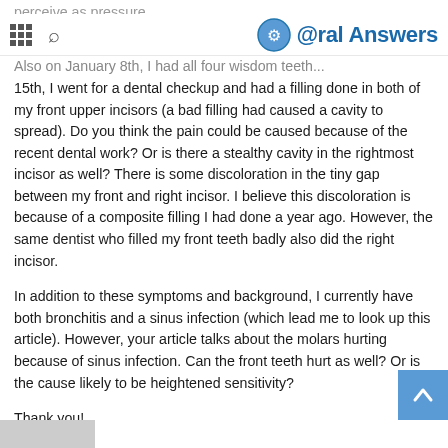Oral Answers
perceive as pressure. Also on January 8th, I had all four wisdom teeth...
15th, I went for a dental checkup and had a filling done in both of my front upper incisors (a bad filling had caused a cavity to spread). Do you think the pain could be caused because of the recent dental work? Or is there a stealthy cavity in the rightmost incisor as well? There is some discoloration in the tiny gap between my front and right incisor. I believe this discoloration is because of a composite filling I had done a year ago. However, the same dentist who filled my front teeth badly also did the right incisor.
In addition to these symptoms and background, I currently have both bronchitis and a sinus infection (which lead me to look up this article). However, your article talks about the molars hurting because of sinus infection. Can the front teeth hurt as well? Or is the cause likely to be heightened sensitivity?
Thank you!
Reply